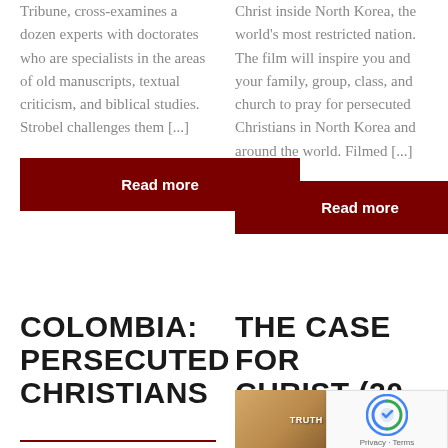Tribune, cross-examines a dozen experts with doctorates who are specialists in the areas of old manuscripts, textual criticism, and biblical studies. Strobel challenges them [...]
Read more
Christ inside North Korea, the world's most restricted nation. The film will inspire you and your family, group, class, and church to pray for persecuted Christians in North Korea and around the world. Filmed [...]
Read more
COLOMBIA: PERSECUTED CHRISTIANS
THE CASE FOR CHRIST (20
[Figure (photo): Thumbnail image for The Case for Christ article, showing old-style text/manuscript imagery in brown/gold tones with text 'TRUTH ON' visible]